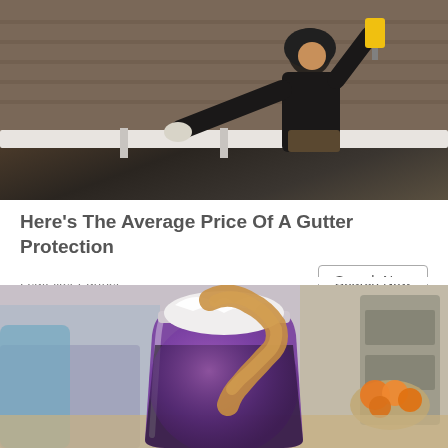[Figure (photo): A person in a black hoodie and work gloves using a power drill to install or repair gutters on a roof. Trees and a brick building are visible in the background.]
Here's The Average Price Of A Gutter Protection
LeafFilter Partner
[Figure (photo): A close-up of a purple smoothie in a mason jar topped with whipped cream and a drizzle of peanut butter or almond butter. Oranges and kitchen items are blurred in the background.]